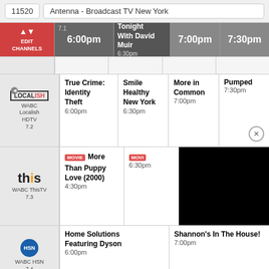11520
Antenna - Broadcast TV New York
| Channel | 6:00pm | 6:30pm | 7:00pm | 7:30pm |
| --- | --- | --- | --- | --- |
| EDIT CHANNELS | 6:00pm | Tonight With David Muir 6:30pm | 7:00pm | 7:30pm |
| WABC Localish HDTV 7.2 | True Crime: Identity Theft 6:00pm | Smile Healthy New York 6:30pm | More in Common 7:00pm | Pumped 7:30pm |
| WABC ThisTV 7.3 | MOVIE More Than Puppy Love (2000) 4:30pm | MOVIE 6:30pm |  |  |
| WABC HSN 7.4 | Home Solutions Featuring Dyson 6:00pm |  | Shannon's In The House! 7:00pm |  |
|  |  |  |  |  |